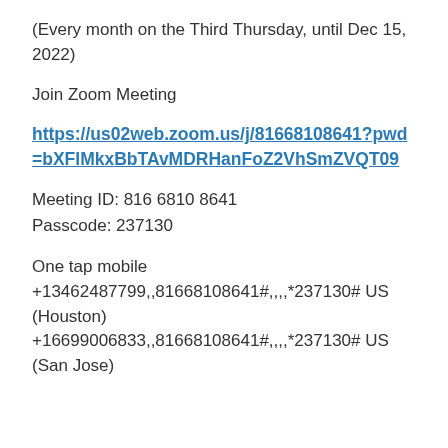(Every month on the Third Thursday, until Dec 15, 2022)
Join Zoom Meeting
https://us02web.zoom.us/j/81668108641?pwd=bXFlMkxBbTAvMDRHanFoZ2VhSmZVQT09
Meeting ID: 816 6810 8641
Passcode: 237130
One tap mobile
+13462487799,,81668108641#,,,,*237130# US (Houston)
+16699006833,,81668108641#,,,,*237130# US (San Jose)